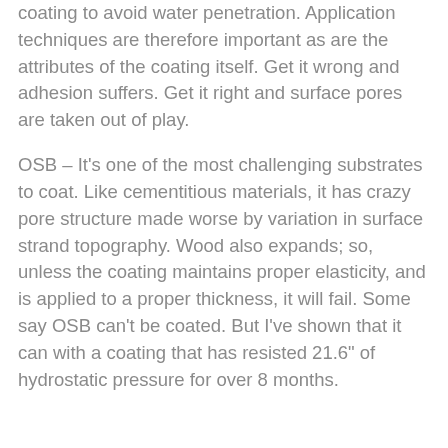coating to avoid water penetration. Application techniques are therefore important as are the attributes of the coating itself. Get it wrong and adhesion suffers. Get it right and surface pores are taken out of play.
OSB – It's one of the most challenging substrates to coat. Like cementitious materials, it has crazy pore structure made worse by variation in surface strand topography. Wood also expands; so, unless the coating maintains proper elasticity, and is applied to a proper thickness, it will fail. Some say OSB can't be coated. But I've shown that it can with a coating that has resisted 21.6" of hydrostatic pressure for over 8 months.